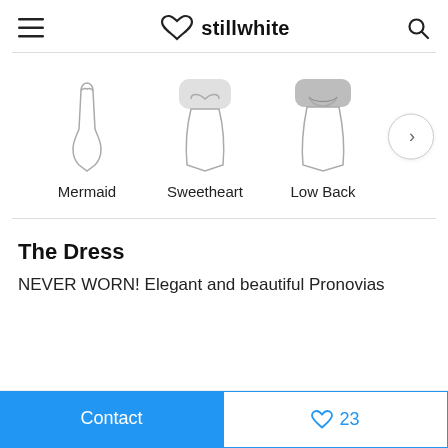stillwhite
[Figure (illustration): Three wedding dress style icons: Mermaid, Sweetheart, Low Back, with a next arrow button]
The Dress
NEVER WORN! Elegant and beautiful Pronovias
Contact | ♡ 23